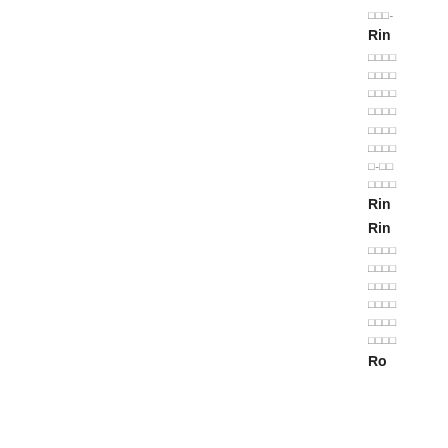□□□-
Rin
□□□□
□□□□
□□□□
□□□□
□□□□
□□□□
□-□□
□□□□
Rin
Rin
□□□□
□□□□
□□□□
□□□□
□□□□
□□□□
Ro